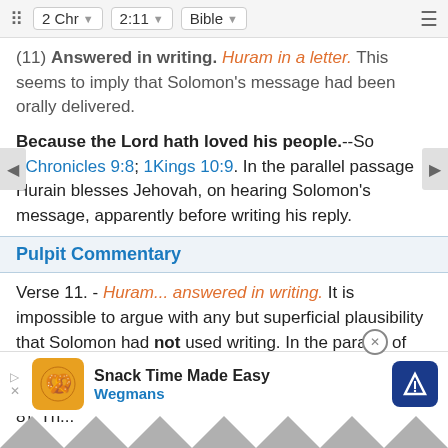2 Chr  2:11  Bible
(11) Answered in writing. [Huram in a letter.] This seems to imply that Solomon's message had been orally delivered.
Because the Lord hath loved his people.--So 2Chronicles 9:8; 1Kings 10:9. In the parallel passage Hurain blesses Jehovah, on hearing Solomon's message, apparently before writing his reply.
Pulpit Commentary
Verse 11. - Huram... answered in writing. It is impossible to argue with any but superficial plausibility that Solomon had not used writing. In the parallel of Kings an identical expression is used for the communications of both: "Solomon se... to Hiram... er. 8). Th...